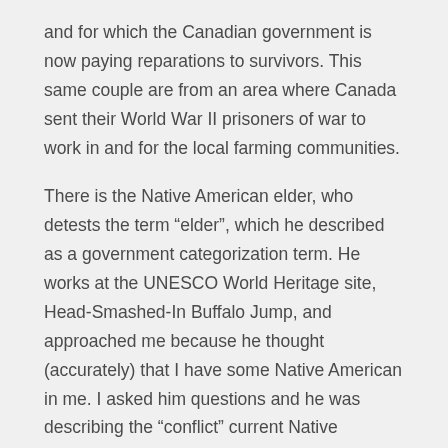and for which the Canadian government is now paying reparations to survivors. This same couple are from an area where Canada sent their World War II prisoners of war to work in and for the local farming communities.
There is the Native American elder, who detests the term “elder”, which he described as a government categorization term. He works at the UNESCO World Heritage site, Head-Smashed-In Buffalo Jump, and approached me because he thought (accurately) that I have some Native American in me. I asked him questions and he was describing the “conflict” current Native American generations are having between “old world” and “new world” values; when I asked more questions he asked me if I had more time, and took me to a room that was set up as if it is a gathering space for traditional rituals. He explained, “I own nothing; we own nothing. I cannot take;